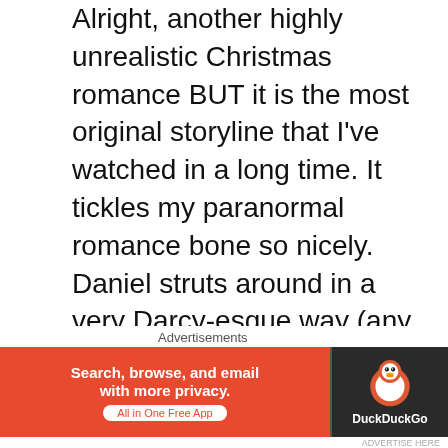Alright, another highly unrealistic Christmas romance BUT it is the most original storyline that I've watched in a long time. It tickles my paranormal romance bone so nicely. Daniel struts around in a very Darcy-esque way (any Pride and Prejudice lovers out there?) to keep Kate off his love-stricken scent, but the audience knows better. Kate catches on and you see their romance start to develop despite the odds that Daniel IS a ghost.
I'm not going to spoil this one. You MUST watch it! I know I will be a few more times.
What Christmas movies do you like? Leave your
Advertisements
[Figure (other): DuckDuckGo advertisement banner: orange left section with text 'Search, browse, and email with more privacy. All in One Free App', dark right section with DuckDuckGo logo]